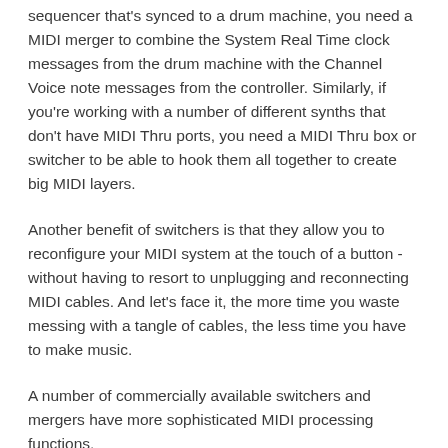sequencer that's synced to a drum machine, you need a MIDI merger to combine the System Real Time clock messages from the drum machine with the Channel Voice note messages from the controller. Similarly, if you're working with a number of different synths that don't have MIDI Thru ports, you need a MIDI Thru box or switcher to be able to hook them all together to create big MIDI layers.
Another benefit of switchers is that they allow you to reconfigure your MIDI system at the touch of a button - without having to resort to unplugging and reconnecting MIDI cables. And let's face it, the more time you waste messing with a tangle of cables, the less time you have to make music.
A number of commercially available switchers and mergers have more sophisticated MIDI processing functions.